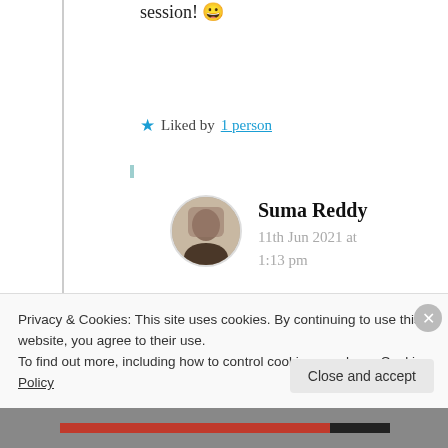...DLT writing/blogging session! 😀
★ Liked by 1 person
Suma Reddy
11th Jun 2021 at 1:13 pm
Oh! Okay. I must cover
Privacy & Cookies: This site uses cookies. By continuing to use this website, you agree to their use.
To find out more, including how to control cookies, see here: Cookie Policy
Close and accept